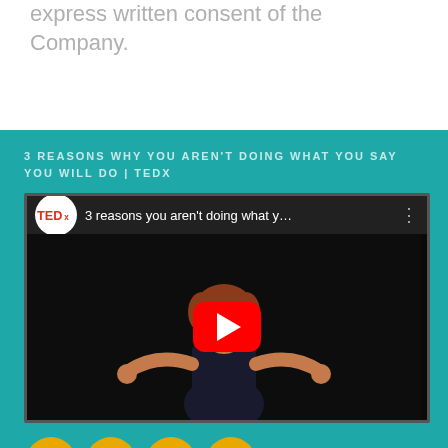express written consent of the Company.
3 REASONS WHY YOU AREN'T DOING WHAT YOU SAY YOU WILL DO | TEDX
[Figure (screenshot): Embedded YouTube video thumbnail showing a TEDx talk titled '3 reasons you aren't doing what y…' with a woman speaker on a dark stage and a red YouTube play button overlay.]
[Figure (other): Social media icons: Facebook, LinkedIn, Instagram, Twitter — yellow circular buttons]